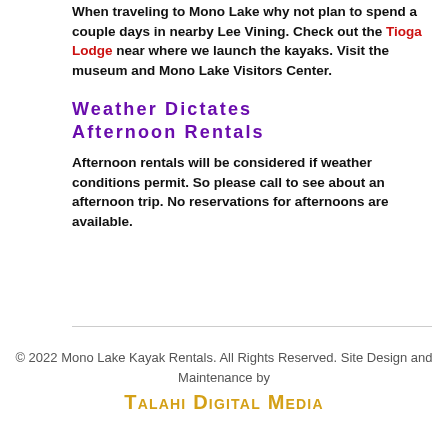When traveling to Mono Lake why not plan to spend a couple days in nearby Lee Vining. Check out the Tioga Lodge near where we launch the kayaks. Visit the museum and Mono Lake Visitors Center.
Weather Dictates Afternoon Rentals
Afternoon rentals will be considered if weather conditions permit. So please call to see about an afternoon trip. No reservations for afternoons are available.
© 2022 Mono Lake Kayak Rentals. All Rights Reserved. Site Design and Maintenance by Talahi Digital Media